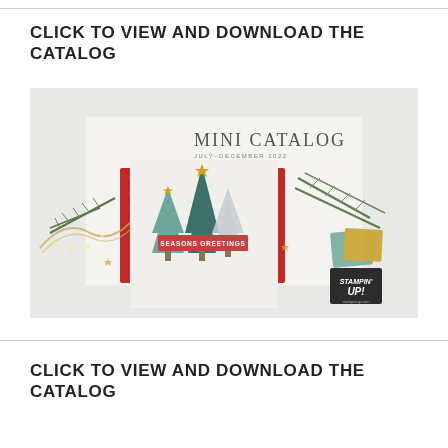CLICK TO VIEW AND DOWNLOAD THE CATALOG
[Figure (photo): Stampin' Up! Mini Catalog July-December 2022 cover showing Christmas card with decorated trees and 'SEASONS GREETINGS' text, surrounded by pine branches and ribbons]
CLICK TO VIEW AND DOWNLOAD THE CATALOG